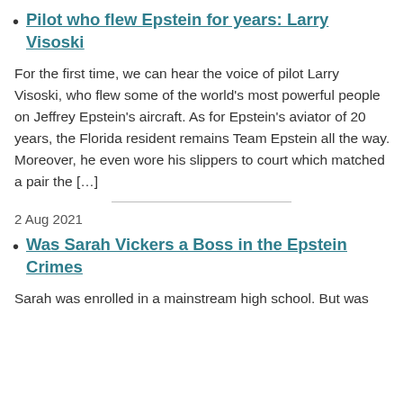Pilot who flew Epstein for years: Larry Visoski
For the first time, we can hear the voice of pilot Larry Visoski, who flew some of the world's most powerful people on Jeffrey Epstein's aircraft. As for Epstein's aviator of 20 years, the Florida resident remains Team Epstein all the way. Moreover, he even wore his slippers to court which matched a pair the [...]
2 Aug 2021
Was Sarah Vickers a Boss in the Epstein Crimes
Sarah was enrolled in a mainstream high school. But was